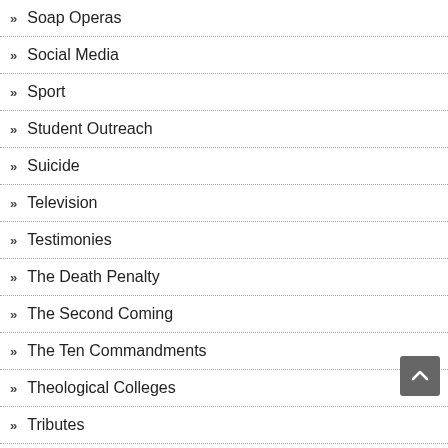Soap Operas
Social Media
Sport
Student Outreach
Suicide
Television
Testimonies
The Death Penalty
The Second Coming
The Ten Commandments
Theological Colleges
Tributes